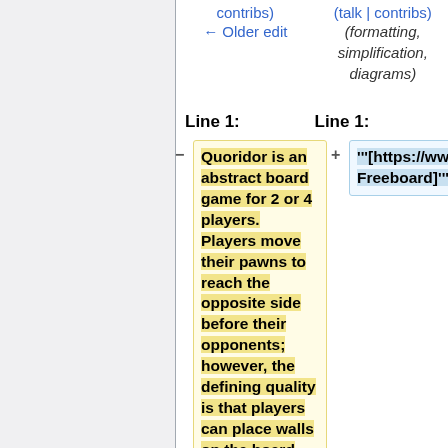contribs)
← Older edit
(talk | contribs)
(formatting, simplification, diagrams)
Line 1:
Line 1:
Quoridor is an abstract board game for 2 or 4 players. Players move their pawns to reach the opposite side before their opponents; however, the defining quality is that players can place walls on the board
'''[https://www.quoridorfansite.com/tools/freeboard.html Freeboard]'''